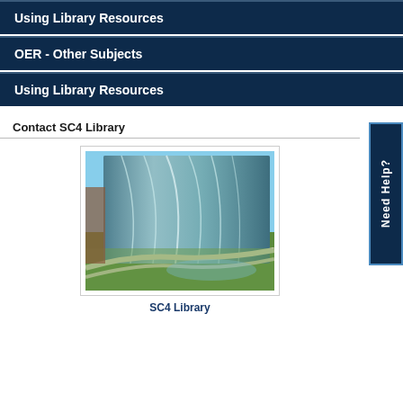Using Library Resources
OER - Other Subjects
Using Library Resources
Contact SC4 Library
[Figure (photo): Exterior photo of SC4 Library building showing curved glass facade with green lawn in foreground]
SC4 Library
Need Help?